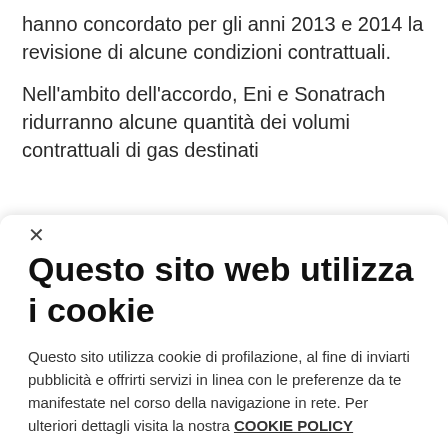hanno concordato per gli anni 2013 e 2014 la revisione di alcune condizioni contrattuali.
Nell'ambito dell'accordo, Eni e Sonatrach ridurranno alcune quantità dei volumi contrattuali di gas destinati
×
Questo sito web utilizza i cookie
Questo sito utilizza cookie di profilazione, al fine di inviarti pubblicità e offrirti servizi in linea con le preferenze da te manifestate nel corso della navigazione in rete. Per ulteriori dettagli visita la nostra COOKIE POLICY
ACCETTA
Impostazioni cookie